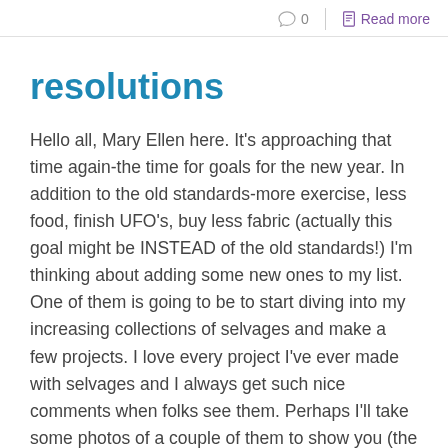0   Read more
resolutions
Hello all, Mary Ellen here. It's approaching that time again-the time for goals for the new year. In addition to the old standards-more exercise, less food, finish UFO's, buy less fabric (actually this goal might be INSTEAD of the old standards!) I'm thinking about adding some new ones to my list. One of them is going to be to start diving into my increasing collections of selvages and make a few projects. I love every project I've ever made with selvages and I always get such nice comments when folks see them. Perhaps I'll take some photos of a couple of them to show you (the ones I still have in my possession). I want to make